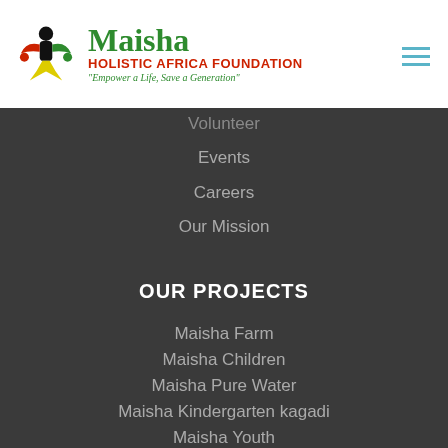[Figure (logo): Maisha Holistic Africa Foundation logo with colorful figures and tagline]
Volunteer
Events
Careers
Our Mission
OUR PROJECTS
Maisha Farm
Maisha Children
Maisha Pure Water
Maisha Kindergarten kagadi
Maisha Youth